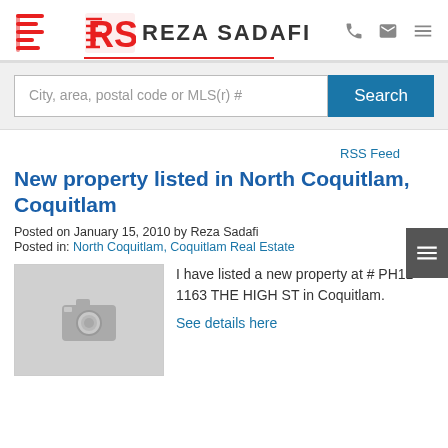REZA SADAFI
City, area, postal code or MLS(r) #
RSS Feed
New property listed in North Coquitlam, Coquitlam
Posted on January 15, 2010 by Reza Sadafi
Posted in: North Coquitlam, Coquitlam Real Estate
[Figure (photo): Grey camera placeholder image for property photo]
I have listed a new property at # PH11 1163 THE HIGH ST in Coquitlam.
See details here